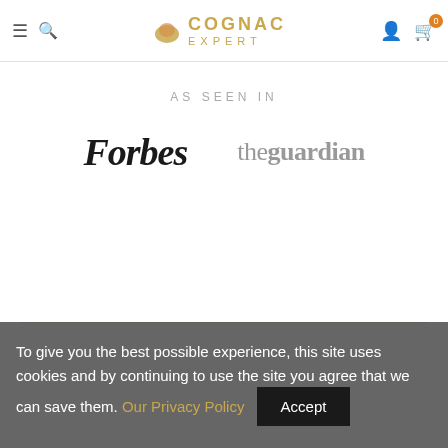Cognac Expert — Navigation bar with hamburger menu, search, logo, user icon, cart (0)
AS SEEN IN
[Figure (logo): Forbes logo in bold serif black text]
[Figure (logo): The Guardian logo in grey serif text]
AWARDED (faint watermark)
To give you the best possible experience, this site uses cookies and by continuing to use the site you agree that we can save them. Our Privacy Policy  Accept